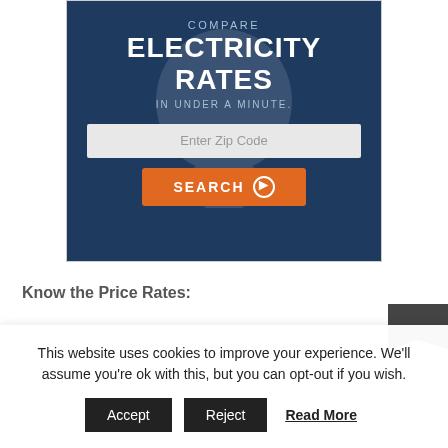[Figure (infographic): Dark blue banner widget: 'COMPARE ELECTRICITY RATES IN UNDER A MINUTE.' with an Enter Zip Code input field and an orange SEARCH button with arrow icon. A faint lightbulb watermark is in the background.]
Know the Price Rates:
This website uses cookies to improve your experience. We'll assume you're ok with this, but you can opt-out if you wish.
Accept   Reject   Read More